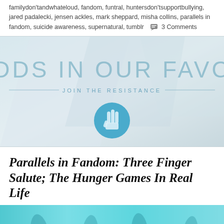familydon'tandwhateloud, fandom, funtral, huntersdon'tsupportbullying, jared padalecki, jensen ackles, mark sheppard, misha collins, parallels in fandom, suicide awareness, supernatural, tumblr    💬 3 Comments
[Figure (illustration): Banner image for 'Odds In Our Favor – Join The Resistance' with a three-finger salute hand gesture in a blue circle, light blue/grey gradient background with paper/wing shapes]
Parallels in Fandom: Three Finger Salute; The Hunger Games In Real Life
[Figure (photo): Bottom cropped photo showing hands raised with three-finger salute gesture against teal/cyan background]